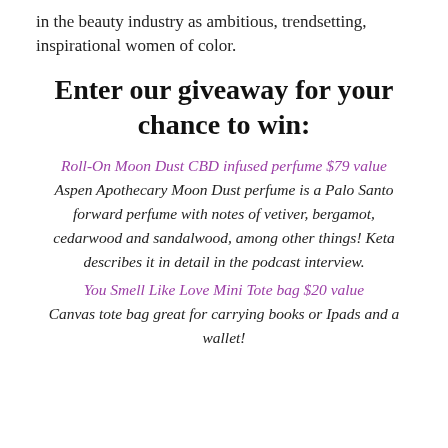in the beauty industry as ambitious, trendsetting, inspirational women of color.
Enter our giveaway for your chance to win:
Roll-On Moon Dust CBD infused perfume $79 value
Aspen Apothecary Moon Dust perfume is a Palo Santo forward perfume with notes of vetiver, bergamot, cedarwood and sandalwood, among other things! Keta describes it in detail in the podcast interview.
You Smell Like Love Mini Tote bag $20 value
Canvas tote bag great for carrying books or Ipads and a wallet!